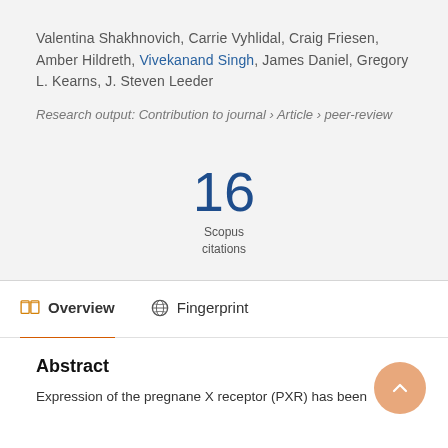Valentina Shakhnovich, Carrie Vyhlidal, Craig Friesen, Amber Hildreth, Vivekanand Singh, James Daniel, Gregory L. Kearns, J. Steven Leeder
Research output: Contribution to journal › Article › peer-review
[Figure (infographic): Scopus citations count: 16]
Overview  Fingerprint
Abstract
Expression of the pregnane X receptor (PXR) has been